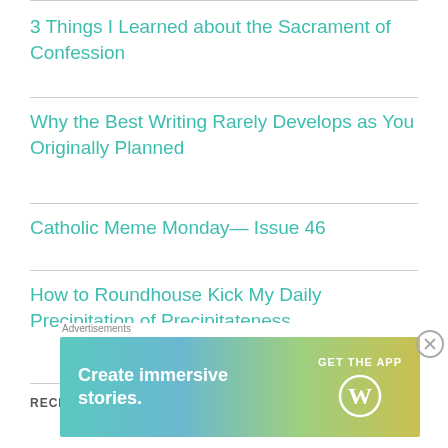3 Things I Learned about the Sacrament of Confession
Why the Best Writing Rarely Develops as You Originally Planned
Catholic Meme Monday— Issue 46
How to Roundhouse Kick My Daily Precipitation of Precipitateness
RECENT COMMENTS
[Figure (other): Advertisement banner: 'Create immersive stories. GET THE APP' with WordPress logo, overlaid on page. Includes close button (X).]